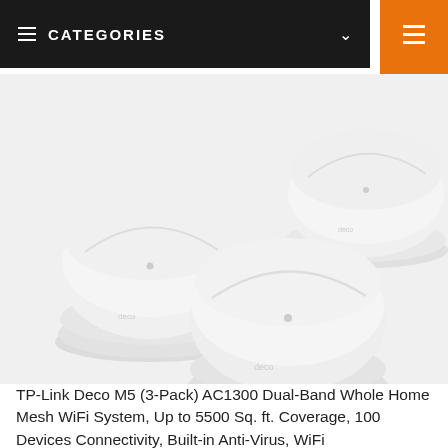≡ CATEGORIES ∨
[Figure (photo): Three white TP-Link Deco M5 mesh WiFi router units arranged in a triangular cluster on a light gray background. Each unit is a flat circular disc shape with a subtle curved line across the top and a small LED dot in the center.]
TP-Link Deco M5 (3-Pack) AC1300 Dual-Band Whole Home Mesh WiFi System, Up to 5500 Sq. ft. Coverage, 100 Devices Connectivity, Built-in Anti-Virus, WiFi